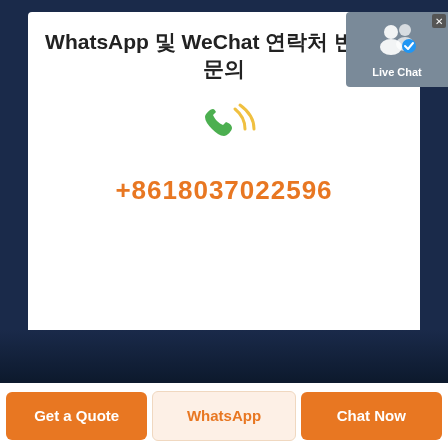WhatsApp 및 WeChat 연락처 번호 및 문의
+8618037022596
[Figure (screenshot): Live Chat popup badge with user icon and checkmark, gray background]
[Figure (illustration): Green phone/call icon with signal waves]
Get a Quote
WhatsApp
Chat Now